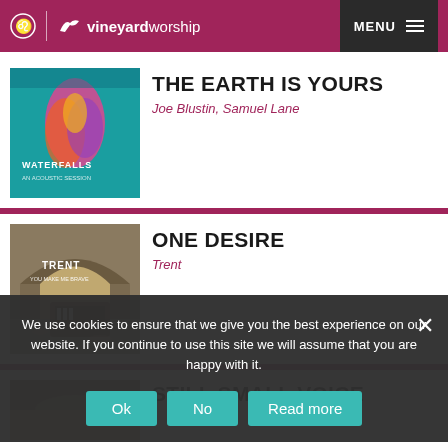vineyard worship | MENU
[Figure (photo): Album art for Waterfalls - colorful ink explosion in teal water with text WATERFALLS]
THE EARTH IS YOURS
Joe Blustin, Samuel Lane
[Figure (photo): Album art for Trent - abandoned room with a ruined piano, text TRENT]
ONE DESIRE
Trent
[Figure (photo): Partial album art - third listing, partially visible]
STILL SMALL VOICE
We use cookies to ensure that we give you the best experience on our website. If you continue to use this site we will assume that you are happy with it.
Ok
No
Read more